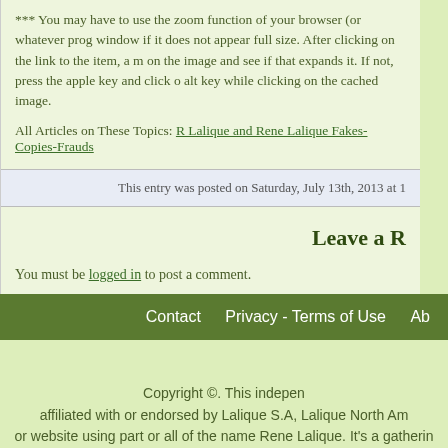*** You may have to use the zoom function of your browser (or whatever prog window if it does not appear full size. After clicking on the link to the item, a m on the image and see if that expands it. If not, press the apple key and click o alt key while clicking on the cached image.
All Articles on These Topics: R Lalique and Rene Lalique Fakes-Copies-Frauds
This entry was posted on Saturday, July 13th, 2013 at 1
Leave a R
You must be logged in to post a comment.
Contact   Privacy - Terms of Use   Ab
Copyright ©. This indepen affiliated with or endorsed by Lalique S.A, Lalique North Am or website using part or all of the name Rene Lalique. It's a gatherin